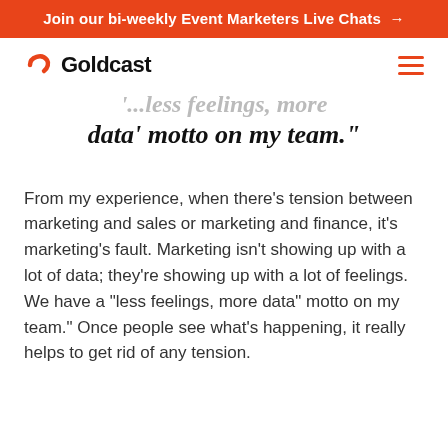Join our bi-weekly Event Marketers Live Chats →
[Figure (logo): Goldcast logo with orange crescent/arrow icon and bold Goldcast wordmark]
' 'less feelings, more data' motto on my team.'
From my experience, when there's tension between marketing and sales or marketing and finance, it's marketing's fault. Marketing isn't showing up with a lot of data; they're showing up with a lot of feelings. We have a "less feelings, more data" motto on my team." Once people see what's happening, it really helps to get rid of any tension.